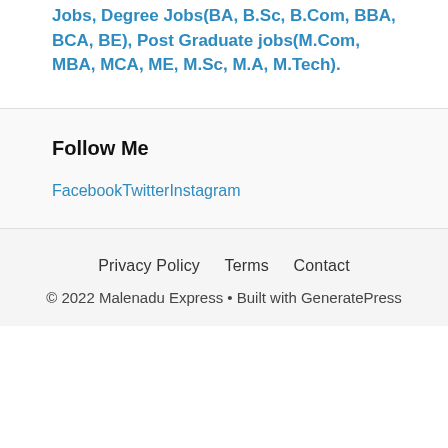Jobs, Degree Jobs(BA, B.Sc, B.Com, BBA, BCA, BE), Post Graduate jobs(M.Com, MBA, MCA, ME, M.Sc, M.A, M.Tech).
Follow Me
FacebookTwitterInstagram
Privacy Policy   Terms   Contact
© 2022 Malenadu Express • Built with GeneratePress